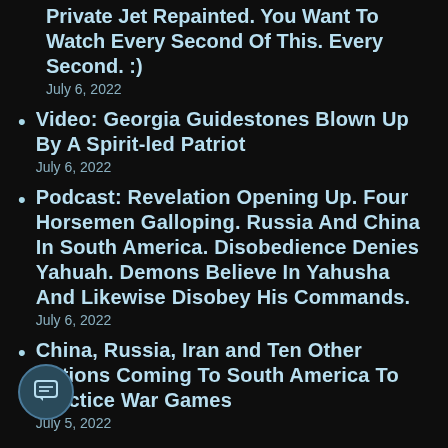Private Jet Repainted. You Want To Watch Every Second Of This. Every Second. :)
July 6, 2022
Video: Georgia Guidestones Blown Up By A Spirit-led Patriot
July 6, 2022
Podcast: Revelation Opening Up. Four Horsemen Galloping. Russia And China In South America. Disobedience Denies Yahuah. Demons Believe In Yahusha And Likewise Disobey His Commands.
July 6, 2022
China, Russia, Iran and Ten Other Nations Coming To South America To Practice War Games
July 5, 2022